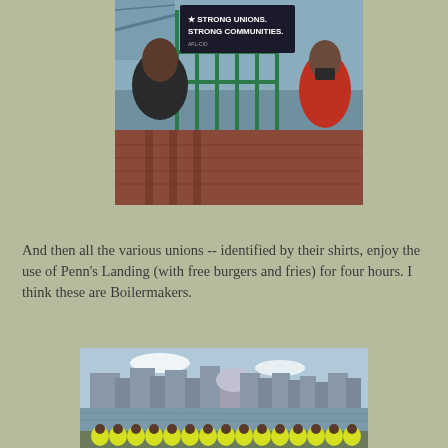[Figure (photo): Two people standing near green metal fence/gate at Penn's Landing. A banner reads 'STRONG UNIONS. STRONG COMMUNITIES.' A bridge and river visible in background. Person on left in dark union shirt, person on right in red shirt wearing a mask.]
And then all the various unions -- identified by their shirts, enjoy the use of Penn's Landing (with free burgers and fries) for four hours. I think these are Boilermakers.
[Figure (photo): Group of workers in bright yellow/green high-visibility vests standing along a waterfront, viewed from behind. City skyline and large buildings visible across the water on a partly cloudy day.]